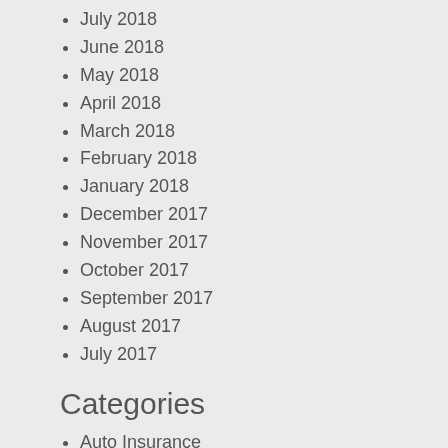July 2018
June 2018
May 2018
April 2018
March 2018
February 2018
January 2018
December 2017
November 2017
October 2017
September 2017
August 2017
July 2017
Categories
Auto Insurance
Home Insurance
Insurance